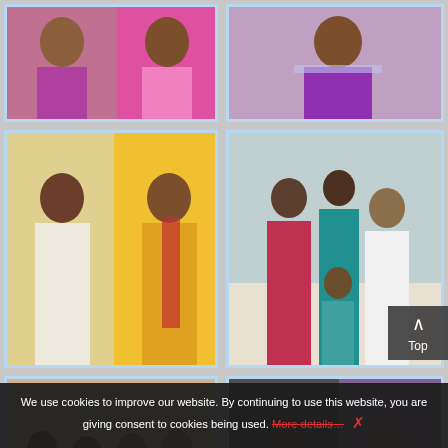[Figure (photo): Two women in Indian attire, purple and pink sarees]
[Figure (photo): Woman in purple saree, back view]
[Figure (photo): Two women in Indian attire, white and yellow sarees]
[Figure (photo): Group of children and woman in Indian attire, teal and white]
[Figure (photo): Group of women and girls in Indian attire, colorful]
[Figure (photo): Man in suit and woman in purple saree]
We use cookies to improve our website. By continuing to use this website, you are giving consent to cookies being used. More details… ✕